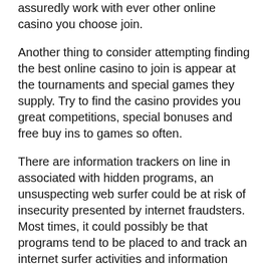assuredly work with ever other online casino you choose join.
Another thing to consider attempting finding the best online casino to join is appear at the tournaments and special games they supply. Try to find the casino provides you great competitions, special bonuses and free buy ins to games so often.
There are information trackers on line in associated with hidden programs, an unsuspecting web surfer could be at risk of insecurity presented by internet fraudsters. Most times, it could possibly be that programs tend to be placed to and track an internet surfer activities and information without the individuals slightest awareness.